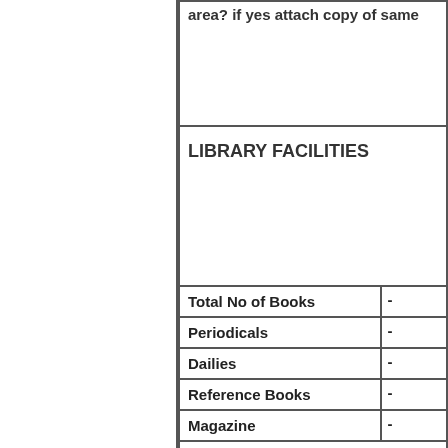| Item | Value |
| --- | --- |
| area? if yes attach copy of same |  |
| LIBRARY FACILITIES |  |
| Total No of Books | - |
| Periodicals | - |
| Dailies | - |
| Reference Books | - |
| Magazine | - |
| SPORTS & GAMES |  |
| Swimming Pool | - |
| Indoor Games | - |
| Dance | - |